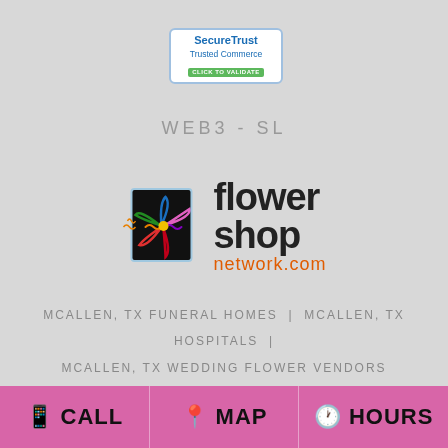[Figure (logo): SecureTrust Trusted Commerce badge with 'CLICK TO VALIDATE' green button]
WEB3-SL
[Figure (logo): Flower Shop Network .com logo with colorful flower graphic]
MCALLEN, TX FUNERAL HOMES | MCALLEN, TX HOSPITALS | MCALLEN, TX WEDDING FLOWER VENDORS
MCALLEN, TX WEATHER | TX STATE GOVERNMENT SITE
PRIVACY POLICY | TERMS OF PURCHASE
CALL   MAP   HOURS